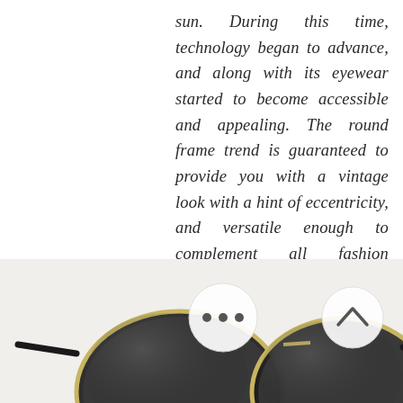sun. During this time, technology began to advance, and along with its eyewear started to become accessible and appealing. The round frame trend is guaranteed to provide you with a vintage look with a hint of eccentricity, and versatile enough to complement all fashion occasions from formal to casual. Since it doesn't take up the entire face (as opposed to big aviator sunglasses), your facial features are accentuated.
[Figure (photo): Photo of round-frame sunglasses (black and gold) with two circular button overlays: a chat/menu button on the left and a scroll-up button on the right]